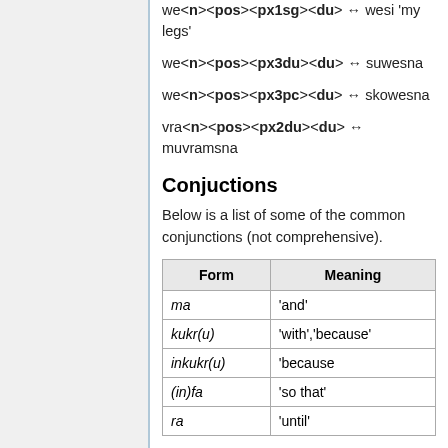we<n><pos><px1sg><du> ↔ wesi 'my legs'
we<n><pos><px3du><du> ↔ suwesna
we<n><pos><px3pc><du> ↔ skowesna
vra<n><pos><px2du><du> ↔ muvramsna
Conjuctions
Below is a list of some of the common conjunctions (not comprehensive).
| Form | Meaning |
| --- | --- |
| ma | 'and' |
| kukr(u) | 'with','because' |
| inkukr(u) | 'because |
| (in)fa | 'so that' |
| ra | 'until' |